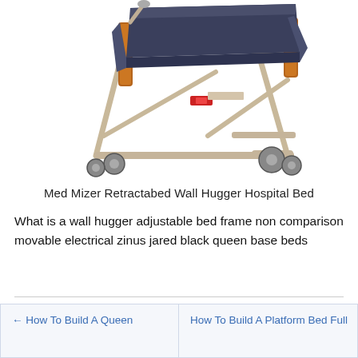[Figure (photo): Photo of a Med Mizer Retractabed Wall Hugger Hospital Bed — a metal-framed adjustable hospital bed with dark navy/charcoal mattress, wooden side rails, and wheeled casters, shown at an angle on a white background.]
Med Mizer Retractabed Wall Hugger Hospital Bed
What is a wall hugger adjustable bed frame non comparison movable electrical zinus jared black queen base beds
← How To Build A Queen
How To Build A Platform Bed Full